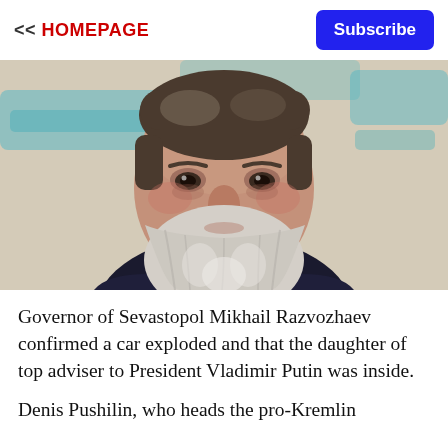<< HOMEPAGE
Subscribe
[Figure (photo): Close-up portrait of an older man with a long grey-white beard and grey hair, looking upward, wearing a dark jacket, with a blurred background showing teal decorative text.]
Governor of Sevastopol Mikhail Razvozhaev confirmed a car exploded and that the daughter of top adviser to President Vladimir Putin was inside.
Denis Pushilin, who heads the pro-Kremlin